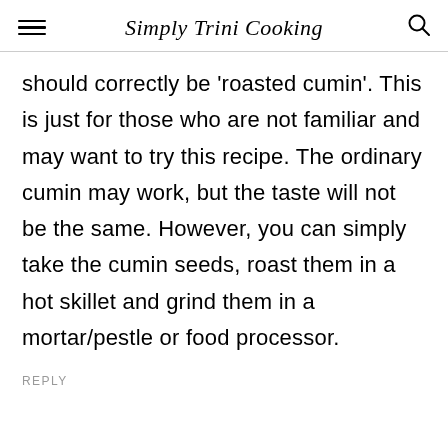Simply Trini Cooking
should correctly be 'roasted cumin'. This is just for those who are not familiar and may want to try this recipe. The ordinary cumin may work, but the taste will not be the same. However, you can simply take the cumin seeds, roast them in a hot skillet and grind them in a mortar/pestle or food processor.
REPLY